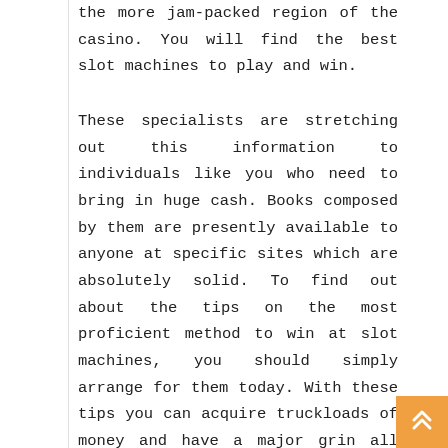the more jam-packed region of the casino. You will find the best slot machines to play and win.
These specialists are stretching out this information to individuals like you who need to bring in huge cash. Books composed by them are presently available to anyone at specific sites which are absolutely solid. To find out about the tips on the most proficient method to win at slot machines, you should simply arrange for them today. With these tips you can acquire truckloads of money and have a major grin all over each time you leave a casino